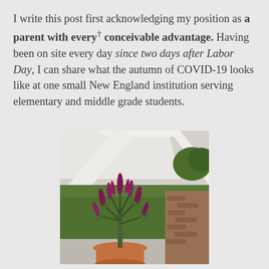I write this post first acknowledging my position as a parent with every† conceivable advantage. Having been on site every day since two days after Labor Day, I can share what the autumn of COVID-19 looks like at one small New England institution serving elementary and middle grade students.
[Figure (photo): A potted plant with dark reddish-purple elongated flower spikes in a terracotta pot, placed on gravel near a white fence or railing, with green lawn and trees visible in the background.]